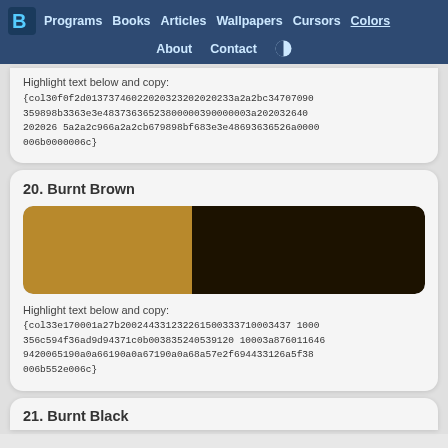Programs | Books | Articles | Wallpapers | Cursors | Colors | About | Contact
Highlight text below and copy:
{col30f0f2d01373746022020323202020233a2a2bc34707090359898b3363e3e4837363652380000039000003a202032640202026 5a2a2c966a2a2cb679898bf683e3e48693636526a0000006b0000006c}
20. Burnt Brown
[Figure (other): Color swatch showing Burnt Brown: left half is a golden brown color, right half is a very dark brown/near-black color]
Highlight text below and copy:
{col33e170001a27b200244331232261500333710003437100 0356c594f36ad9d94371c0b00383524053912010 03a876011646 9420065190a0a66190a0a67190a0a68a57e2f694433126a5f38006b552e006c}
21. Burnt Black